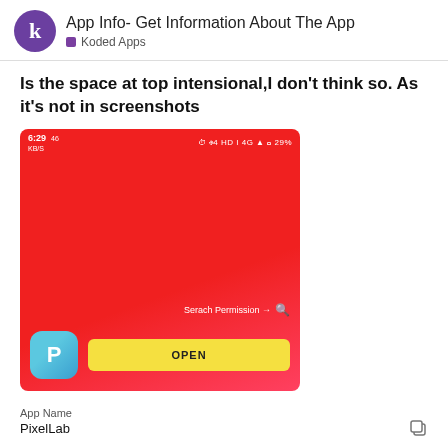App Info- Get Information About The App — Koded Apps
Is the space at top intensional,I don't think so. As it's not in screenshots
[Figure (screenshot): Mobile app screenshot showing a red gradient screen with status bar (6:29, 46 KB/s, signal icons, 29%), a search permission row, a blue app icon (P letter), and a yellow OPEN button.]
App Name
PixelLab